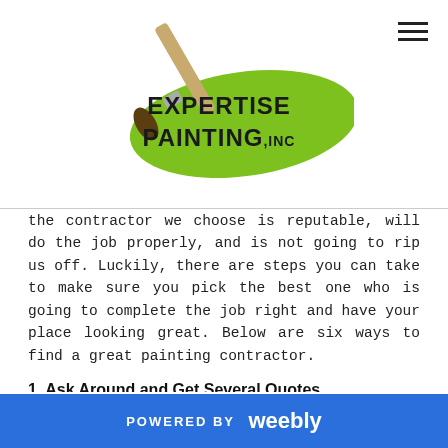[Figure (logo): Expertise Painting Inc logo with a paintbrush and green paint stroke]
the contractor we choose is reputable, will do the job properly, and is not going to rip us off. Luckily, there are steps you can take to make sure you pick the best one who is going to complete the job right and have your place looking great. Below are six ways to find a great painting contractor.
1. Ask Around and Get Several Quotes
Of course, you may start out your search for a great painting contractor by asking friends and family members for suggestions. We trust our friends and family, so we are likely to at least interview the individuals that are recommended to us. However, it is
POWERED BY weebly